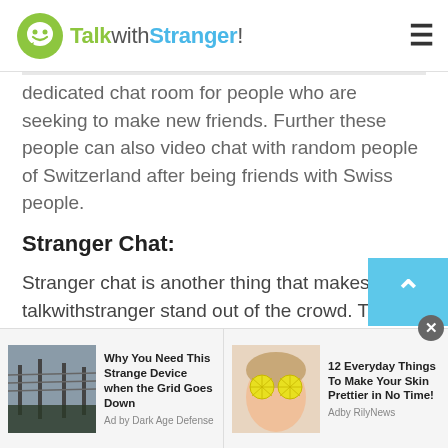TalkwithStranger!
dedicated chat room for people who are seeking to make new friends. Further these people can also video chat with random people of Switzerland after being friends with Swiss people.
Stranger Chat:
Stranger chat is another thing that makes talkwithstranger stand out of the crowd. The stranger chat with people of Switzerland is a type of a chatroom where you get to chat with a stranger who you have never met in your life. You can also
[Figure (screenshot): Ad banner: 'Why You Need This Strange Device when the Grid Goes Down' by Dark Age Defense, with image of power lines]
[Figure (screenshot): Ad banner: '12 Everyday Things To Make Your Skin Prettier in No Time!' by Adby RilyNews, with image of woman holding lemons over eyes]